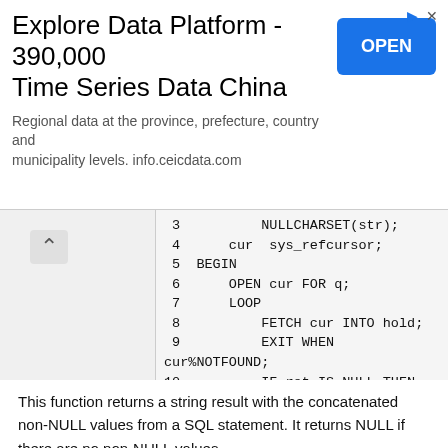[Figure (screenshot): Advertisement banner for 'Explore Data Platform - 390,000 Time Series Data China' with an OPEN button]
4    cur  sys_refcursor;
 5  BEGIN
 6      OPEN cur FOR q;
 7      LOOP
 8          FETCH cur INTO hold;
 9          EXIT WHEN
cur%NOTFOUND;
10          IF ret IS NULL THEN
11              ret := hold;
12          ELSE
13              ret := ret || ',' ||
hold;
14          END IF;
15      END LOOP;
16      RETURN ret;
17  END;
18  /
Function created.
This function returns a string result with the concatenated non-NULL values from a SQL statement. It returns NULL if there are no non-NULL values.